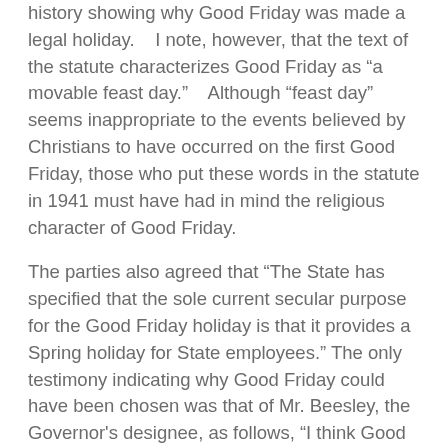history showing why Good Friday was made a legal holiday. I note, however, that the text of the statute characterizes Good Friday as “a movable feast day.” Although “feast day” seems inappropriate to the events believed by Christians to have occurred on the first Good Friday, those who put these words in the statute in 1941 must have had in mind the religious character of Good Friday.
The parties also agreed that “The State has specified that the sole current secular purpose for the Good Friday holiday is that it provides a Spring holiday for State employees.” The only testimony indicating why Good Friday could have been chosen was that of Mr. Beesley, the Governor's designee, as follows, “I think Good Friday works out well, because as I say, it's a natural travel time for a lot of us. But any day could have been picked for that purpose. And it does fall, as I said, I think, in the response to interrogatories, happily about halfway between Martin